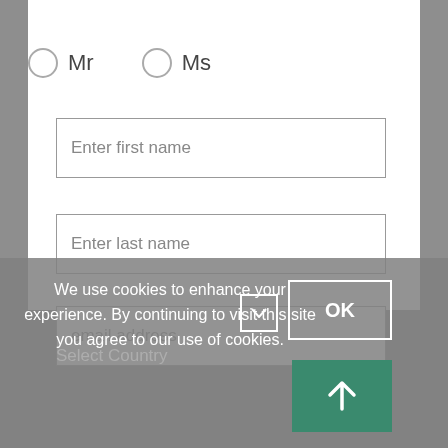[Figure (screenshot): Web form with radio buttons for Mr/Ms, input fields for first name, last name, and email address, and a cookie consent banner overlay at the bottom with OK button and up arrow button.]